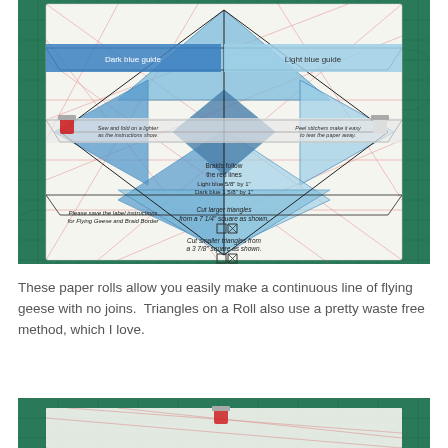[Figure (photo): A quilting paper roll template laid flat on a green cutting mat, showing a star/flying geese pattern with blue shaded triangles, labels reading 'Dark blue guide', 'Light blue guide', 'Braids follow the red lines Light blue 5/8 by 1 Dark blue 1 5/8 by 1', 'Cut larger triangles from a 7 1/4 square as shown', 'Please save the label instructions for Flying Geese and Braid Border', 'Cut smaller triangles from a 3 7/8 square as shown'. Two small binder clips hold the roll.]
These paper rolls allow you easily make a continuous line of flying geese with no joins.  Triangles on a Roll also use a pretty waste free method, which I love.
[Figure (photo): Bottom portion of another photograph showing the same or similar quilting paper roll on a green cutting mat, partially visible at the bottom of the page.]